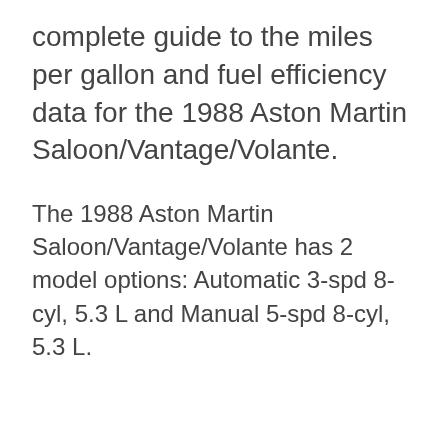complete guide to the miles per gallon and fuel efficiency data for the 1988 Aston Martin Saloon/Vantage/Volante.
The 1988 Aston Martin Saloon/Vantage/Volante has 2 model options: Automatic 3-spd 8-cyl, 5.3 L and Manual 5-spd 8-cyl, 5.3 L.